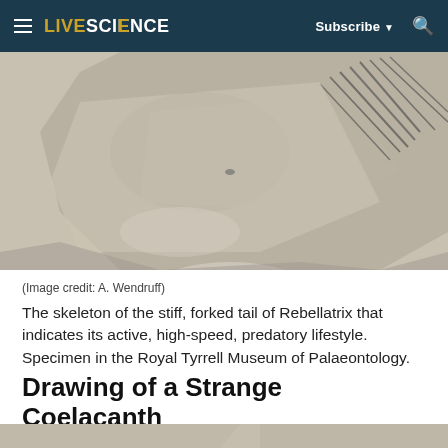LIVESCIENCE  Subscribe ▼  🔍
[Figure (photo): Fossil specimen showing the skeleton of the stiff, forked tail of Rebellatrix on a rock slab, top portion of image.]
(Image credit: A. Wendruff)
The skeleton of the stiff, forked tail of Rebellatrix that indicates its active, high-speed, predatory lifestyle. Specimen in the Royal Tyrrell Museum of Palaeontology.
Drawing of a Strange Coelacanth
[Figure (photo): Bottom portion of another fossil or drawing image, partially visible at the bottom of the page.]